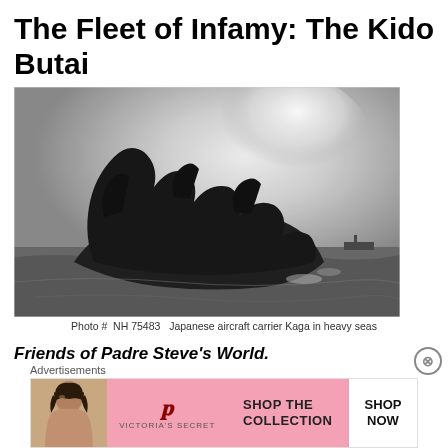The Fleet of Infamy: The Kido Butai
[Figure (photo): Black and white photograph of Japanese aircraft carrier Kaga in heavy seas, showing the ship engulfed in dark smoke and flames.]
Photo # NH 75483   Japanese aircraft carrier Kaga in heavy seas
Friends of Padre Steve's World.
Advertisements
[Figure (infographic): Victoria's Secret advertisement banner: pink background with model photo on left, VS logo in center, 'SHOP THE COLLECTION' text, and 'SHOP NOW' button on right.]